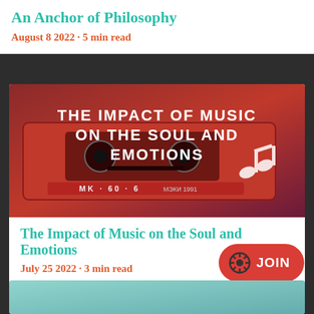An Anchor of Philosophy
August 8 2022 · 5 min read
[Figure (photo): Red cassette tape with white bold text reading THE IMPACT OF MUSIC ON THE SOUL AND EMOTIONS, labeled MK·60·6 МЭКИ 1991, with a white music note icon on the right]
The Impact of Music on the Soul and Emotions
July 25 2022 · 3 min read
[Figure (photo): Partial blurred teal/blue image at bottom of page]